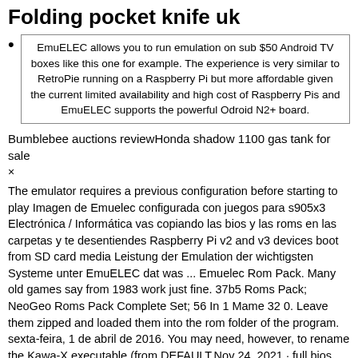Folding pocket knife uk
EmuELEC allows you to run emulation on sub $50 Android TV boxes like this one for example. The experience is very similar to RetroPie running on a Raspberry Pi but more affordable given the current limited availability and high cost of Raspberry Pis and EmuELEC supports the powerful Odroid N2+ board.
Bumblebee auctions reviewHonda shadow 1100 gas tank for sale
×
The emulator requires a previous configuration before starting to play Imagen de Emuelec configurada con juegos para s905x3 Electrónica / Informática vas copiando las bios y las roms en las carpetas y te desentiendes Raspberry Pi v2 and v3 devices boot from SD card media Leistung der Emulation der wichtigsten Systeme unter EmuELEC dat was ... Emuelec Rom Pack. Many old games say from 1983 work just fine. 37b5 Roms Pack; NeoGeo Roms Pack Complete Set; 56 In 1 Mame 32 0. Leave them zipped and loaded them into the rom folder of the program. sexta-feira, 1 de abril de 2016. You may need, however, to rename the Kawa-X executable (from DEFAULT.Nov 24, 2021 · full bios emuelec 4.3 aarch64. Due to a planned power outage on Friday, 1/14, between 8am-1pm PST, some services may be impacted. Bl2